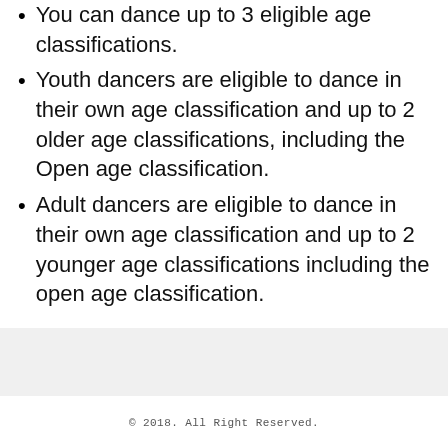You can dance up to 3 eligible age classifications.
Youth dancers are eligible to dance in their own age classification and up to 2 older age classifications, including the Open age classification.
Adult dancers are eligible to dance in their own age classification and up to 2 younger age classifications including the open age classification.
© 2018. All Right Reserved.